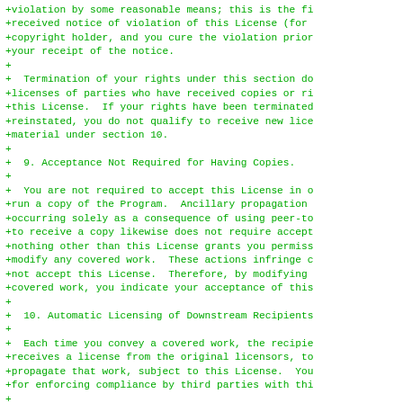+violation by some reasonable means; this is the fi
+received notice of violation of this License (for
+copyright holder, and you cure the violation prior
+your receipt of the notice.
+
+  Termination of your rights under this section do
+licenses of parties who have received copies or ri
+this License.  If your rights have been terminated
+reinstated, you do not qualify to receive new lice
+material under section 10.
+
+  9. Acceptance Not Required for Having Copies.
+
+  You are not required to accept this License in o
+run a copy of the Program.  Ancillary propagation
+occurring solely as a consequence of using peer-to
+to receive a copy likewise does not require accept
+nothing other than this License grants you permiss
+modify any covered work.  These actions infringe c
+not accept this License.  Therefore, by modifying
+covered work, you indicate your acceptance of this
+
+  10. Automatic Licensing of Downstream Recipients
+
+  Each time you convey a covered work, the recipie
+receives a license from the original licensors, to
+propagate that work, subject to this License.  You
+for enforcing compliance by third parties with thi
+
+  An "entity transaction" is a transaction transfe